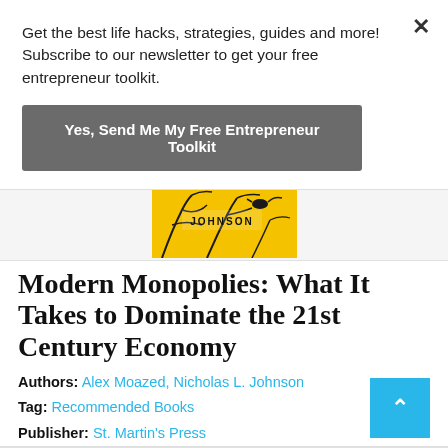Get the best life hacks, strategies, guides and more! Subscribe to our newsletter to get your free entrepreneur toolkit.
Yes, Send Me My Free Entrepreneur Toolkit
[Figure (photo): Partial book cover image showing 'JOHNSON' text on a yellow background with a bird silhouette and trees]
Modern Monopolies: What It Takes to Dominate the 21st Century Economy
Authors: Alex Moazed, Nicholas L. Johnson
Tag: Recommended Books
Publisher: St. Martin's Press
Publication Year: 2016
ASIN: B017RC8CBC
ISBN: 1250091896